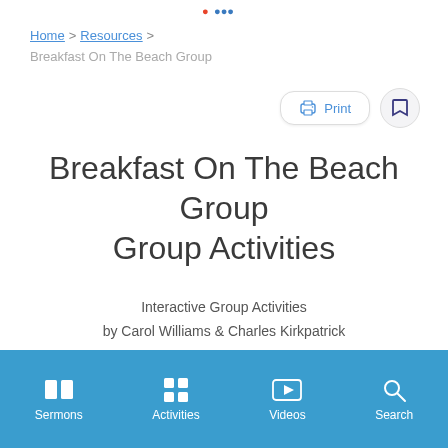[Figure (logo): Partial logo visible at top center of page]
Home > Resources > Breakfast On The Beach Group
[Figure (other): Print button with printer icon and bookmark button]
Breakfast On The Beach Group Group Activities
Interactive Group Activities
by Carol Williams & Charles Kirkpatrick
Sermons  Activities  Videos  Search